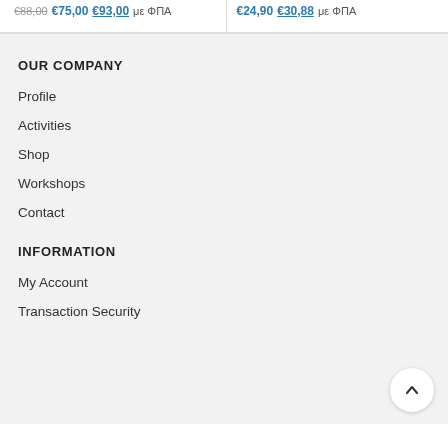€88,00 €75,00 €93,00 με ΦΠΑ
€24,90 €30,88 με ΦΠΑ
OUR COMPANY
Profile
Activities
Shop
Workshops
Contact
INFORMATION
My Account
Transaction Security